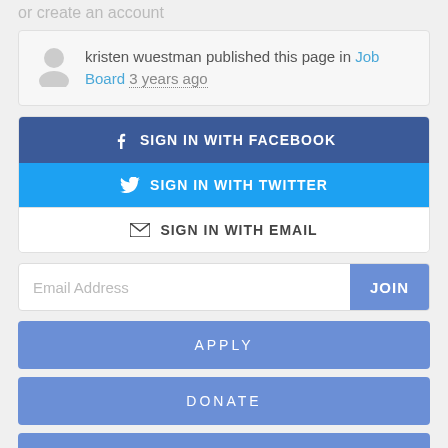or create an account
kristen wuestman published this page in Job Board 3 years ago
[Figure (screenshot): Sign in buttons: Sign in with Facebook (dark blue), Sign in with Twitter (cyan blue), Sign in with Email (white)]
Email Address
JOIN
APPLY
DONATE